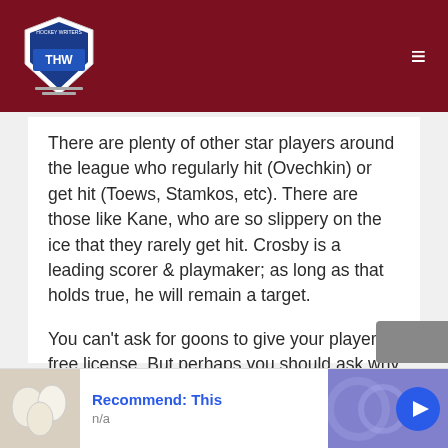THW
There are plenty of other star players around the league who regularly hit (Ovechkin) or get hit (Toews, Stamkos, etc). There are those like Kane, who are so slippery on the ice that they rarely get hit. Crosby is a leading scorer & playmaker; as long as that holds true, he will remain a target.
You can't ask for goons to give your player free license. But perhaps you should ask why he's not asking his own teammates for better protection?
[Figure (screenshot): Advertisement banner: 'Recommend: This' with n/a subtitle, thumbnail image of white round objects, blue circular arrow button, purple gradient background on right side.]